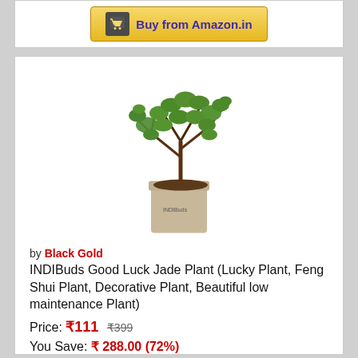[Figure (other): Buy from Amazon.in button with shopping cart icon, golden gradient background]
[Figure (photo): INDIBuds Good Luck Jade Plant in a beige square pot]
by Black Gold
INDIBuds Good Luck Jade Plant (Lucky Plant, Feng Shui Plant, Decorative Plant, Beautiful low maintenance Plant)
Price: ₹111 ₹399
You Save: ₹ 288.00 (72%)
[Figure (other): 2.5 star rating out of 5 stars]
[Figure (other): Buy from Amazon.in button with shopping cart icon, golden gradient background]
Top